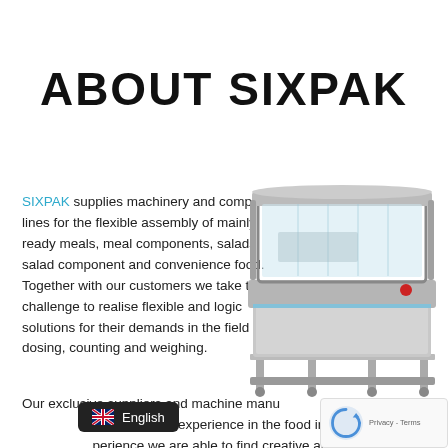ABOUT SIXPAK
SIXPAK supplies machinery and complete lines for the flexible assembly of mainly ready meals, meal components, salads, salad component and convenience food. Together with our customers we take the challenge to realise flexible and logic solutions for their demands in the field of dosing, counting and weighing.
[Figure (photo): Industrial food packaging machine — a stainless steel dosing/weighing machine with a transparent enclosure and metal frame on adjustable feet]
Our exclusive suppliers and machine manufacturers have many years of experience in the food industry. With this experience we are able to find creative and